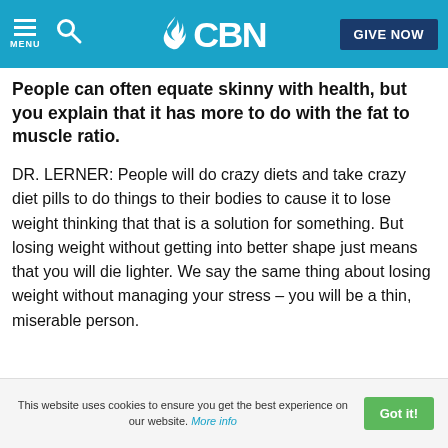CBN — MENU | Search | GIVE NOW
People can often equate skinny with health, but you explain that it has more to do with the fat to muscle ratio.
DR. LERNER: People will do crazy diets and take crazy diet pills to do things to their bodies to cause it to lose weight thinking that that is a solution for something. But losing weight without getting into better shape just means that you will die lighter. We say the same thing about losing weight without managing your stress – you will be a thin, miserable person.
This website uses cookies to ensure you get the best experience on our website. More info   Got it!